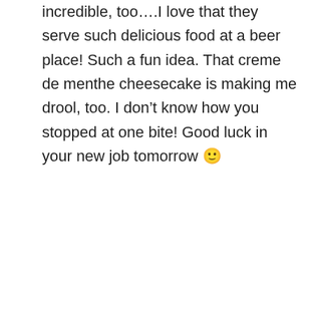incredible, too…I love that they serve such delicious food at a beer place! Such a fun idea. That creme de menthe cheesecake is making me drool, too. I don't know how you stopped at one bite! Good luck in your new job tomorrow 🙂
Reply
Hillary [Nutrition Nut on the Run] says
March 7, 2010 at 10:36 pm
[Figure (other): Advertisement banner: Visit Premium Outlets® Leesburg Premium Outlets]
[Figure (other): What's Next panel showing Dixie Chicks thumbnail]